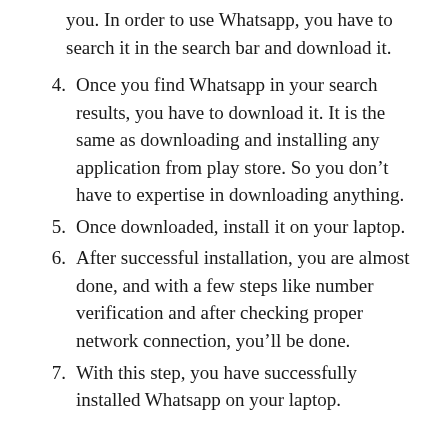you. In order to use Whatsapp, you have to search it in the search bar and download it.
4. Once you find Whatsapp in your search results, you have to download it. It is the same as downloading and installing any application from play store. So you don't have to expertise in downloading anything.
5. Once downloaded, install it on your laptop.
6. After successful installation, you are almost done, and with a few steps like number verification and after checking proper network connection, you'll be done.
7. With this step, you have successfully installed Whatsapp on your laptop.